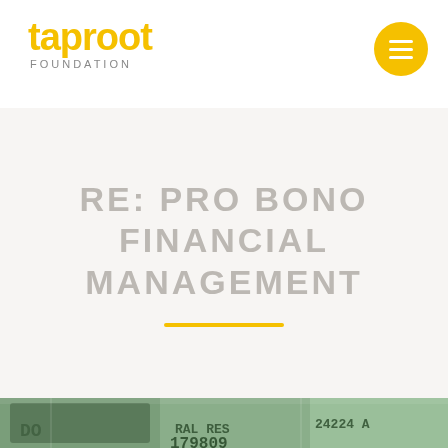[Figure (logo): Taproot Foundation logo — yellow stylized text 'taproot' with 'FOUNDATION' in grey small caps below]
[Figure (illustration): Yellow circular hamburger menu button with three white horizontal lines]
RE: PRO BONO FINANCIAL MANAGEMENT
[Figure (photo): Close-up photo of rolled US dollar bills showing serial numbers 179809 and 24224 A]